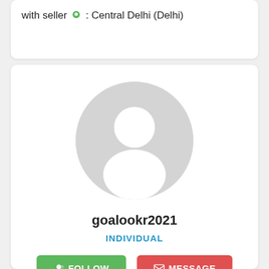with seller 📍 : Central Delhi (Delhi)
[Figure (illustration): Default user avatar — a grey circle with a white silhouette of a person (head circle and shoulders arc)]
goalookr2021
INDIVIDUAL
FOLLOW
MESSAGE
Location : Seoul south Korea, Anied, Anied, Madhus